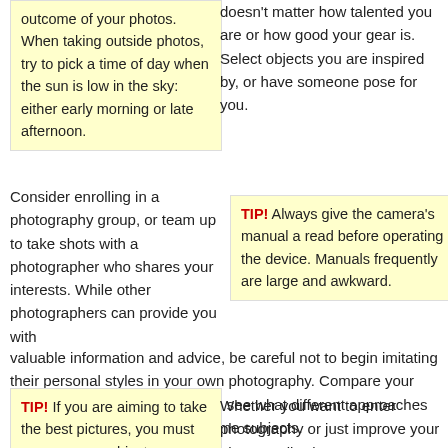outcome of your photos. When taking outside photos, try to pick a time of day when the sun is low in the sky: either early morning or late afternoon.
doesn't matter how talented you are or how good your gear is. Select objects you are inspired by, or have someone pose for you.
TIP! Always give the camera's manual a read before operating the device. Manuals frequently are large and awkward.
Consider enrolling in a photography group, or team up to take shots with a photographer who shares your interests. While other photographers can provide you with valuable information and advice, be careful not to begin imitating their personal styles in your own photography. Compare your photos with your photo buddy to see what different approaches each of you had towards the same subjects.
TIP! If you are aiming to take the best pictures, you must ensure your subjects
Whether you want to enter photography or just improve your photo quality, learn